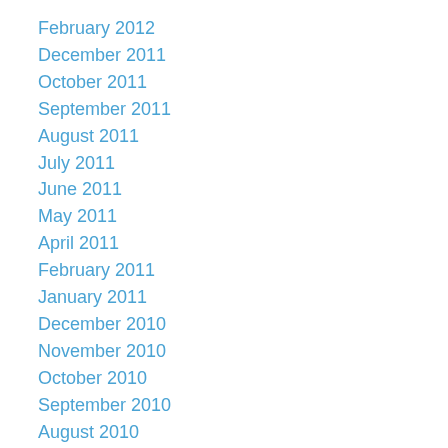February 2012
December 2011
October 2011
September 2011
August 2011
July 2011
June 2011
May 2011
April 2011
February 2011
January 2011
December 2010
November 2010
October 2010
September 2010
August 2010
July 2010
June 2010
May 2010
April 2010